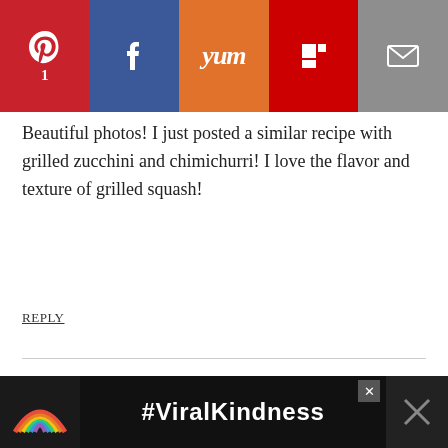[Figure (infographic): Social media share bar with Pinterest (1), Facebook, Yummly, Flipboard, and Email buttons]
Beautiful photos! I just posted a similar recipe with grilled zucchini and chimichurri! I love the flavor and texture of grilled squash!
REPLY
Sarah says
July 28, 2010 at 8:44 pm
I'm so excited about SummerFest! My zucchini's are going crazy so I've been constantly working on new recipes for them these past few weeks this year, my favorites include: Garlic Ginger Zucchini
[Figure (infographic): What's Next overlay with thumbnail and text 'Summer Fest: Creamy...']
[Figure (infographic): #ViralKindness advertisement banner at bottom of page]